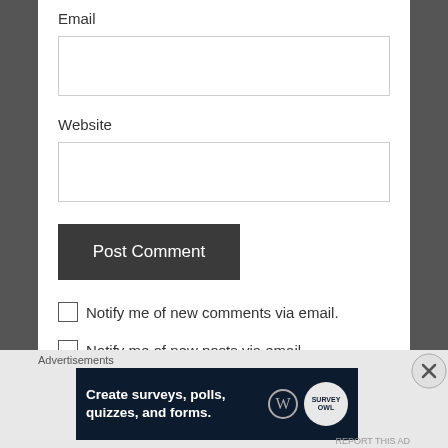Email
Website
Post Comment
Notify me of new comments via email.
Notify me of new posts via email.
Advertisements
[Figure (other): Advertisement banner: 'Create surveys, polls, quizzes, and forms.' with WordPress and Survey Owl logos on dark blue background]